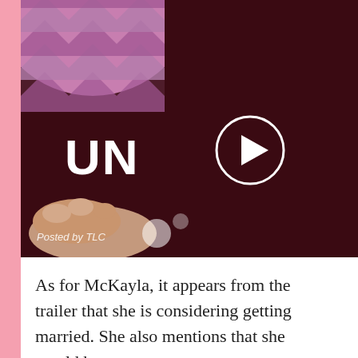[Figure (screenshot): Video thumbnail showing a dark reddish-brown background with a pink and white chevron patterned fabric in the top-left corner, a hand at the bottom-left, bold white text 'UN' in center-left, a circular play button on the right side, and 'Posted by TLC' text overlay at bottom-left.]
As for McKayla, it appears from the trailer that she is considering getting married. She also mentions that she would be...